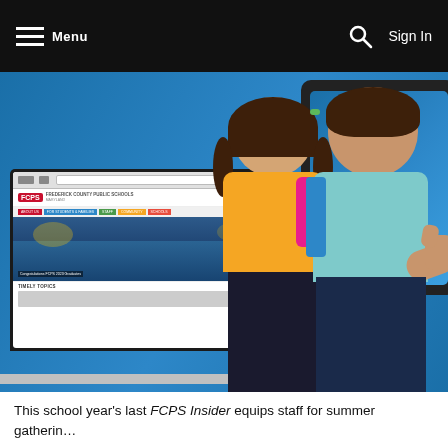Menu  Sign In
[Figure (photo): Two smiling elementary school children (a girl in an orange shirt with a pink backpack and a boy in a teal shirt with a blue backpack giving thumbs up) standing in front of a laptop and tablet displaying the FCPS (Frederick County Public Schools) website, against a blue background.]
This school year's last FCPS Insider equips staff for summer gatherin... opportunities to share data about the mission and...